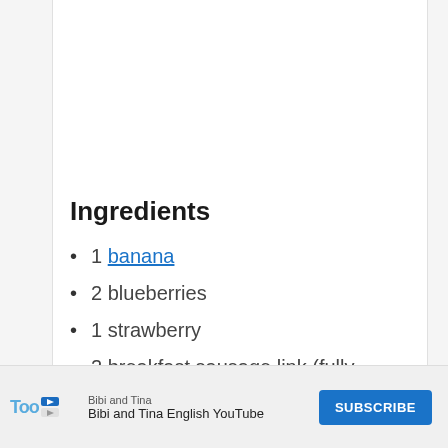Ingredients
1 banana
2 blueberries
1 strawberry
2 breakfast sausage link (fully-cooked) ((prepared according to package directions))
2 Little Bites® Chocolate Chip Muffins